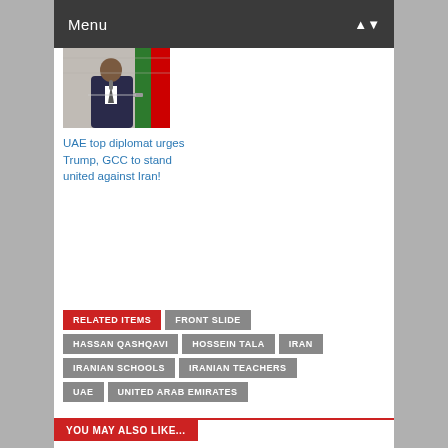Menu
[Figure (photo): A man in a suit speaking at a podium with flags in the background]
UAE top diplomat urges Trump, GCC to stand united against Iran!
RELATED ITEMS
FRONT SLIDE
HASSAN QASHQAVI
HOSSEIN TALA
IRAN
IRANIAN SCHOOLS
IRANIAN TEACHERS
UAE
UNITED ARAB EMIRATES
YOU MAY ALSO LIKE...